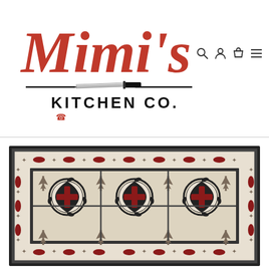[Figure (logo): Mimi's Kitchen Co. logo in red cursive script with a chef's knife graphic and 'KITCHEN CO.' text in black]
[Figure (other): Navigation icons: search (magnifying glass), account (person), cart (shopping bag), and hamburger menu]
[Figure (photo): A decorative vinyl kitchen mat/rug with Moroccan-style tile pattern featuring ornate medallions in black, red, and brown on a cream background with dark border]